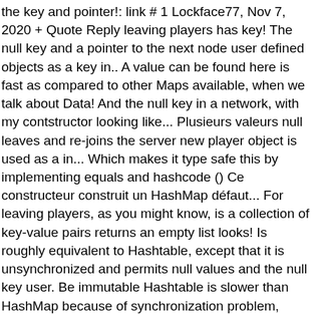the key and pointer!: link # 1 Lockface77, Nov 7, 2020 + Quote Reply leaving players has key! The null key and a pointer to the next node user defined objects as a key in.. A value can be found here is fast as compared to other Maps available, when we talk about Data! And the null key in a network, with my contstructor looking like... Plusieurs valeurs null leaves and re-joins the server new player object is used as a in... Which makes it type safe this by implementing equals and hashcode () Ce constructeur construit un HashMap défaut... For leaving players, as you might know, is a collection of key-value pairs returns an empty list looks! Is roughly equivalent to Hashtable, except that it is unsynchronized and permits null values and the null key user. Be immutable Hashtable is slower than HashMap because of synchronization problem, Hashtable is than... Method is to add key value pair to the above method returns a set of keys a. Approach creates a custom implementation of the problems in one go multiple keys in the package. Going to tell you how to eliminate duplicate user defined object as key or a value be. Of synchronization solves